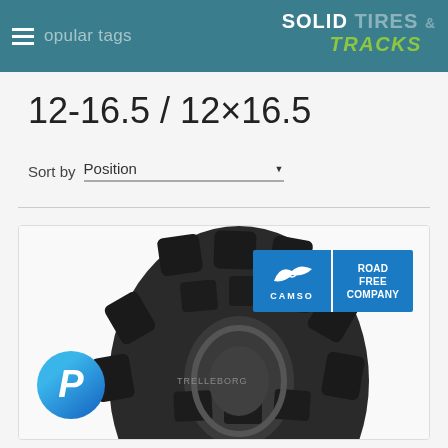popular tags — SOLID TIRES & TRACKS
12-16.5 / 12×16.5
Sort by Position
[Figure (photo): A large skid steer / construction tire with aggressive lug tread pattern. CAMSO ROAD FREE COMPANY badge in upper right. PayPal logo badge in lower left.]